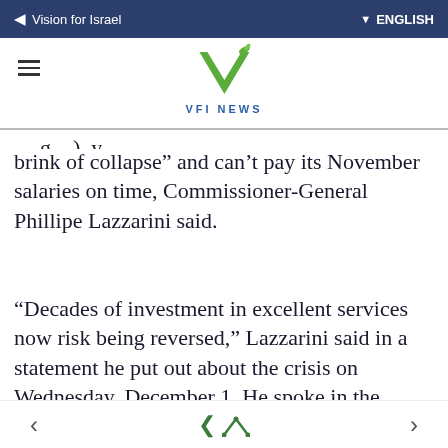Vision for Israel   ENGLISH
[Figure (logo): VFI News logo with green V and leaf design, text VFI NEWS in blue]
brink of collapse” and can’t pay its November salaries on time, Commissioner-General Phillipe Lazzarini said.
“Decades of investment in excellent services now risk being reversed,” Lazzarini said in a statement he put out about the crisis on Wednesday, December 1. He spoke in the aftermath of the meeting the group’s Advisory Commission held in Amman this Monday and